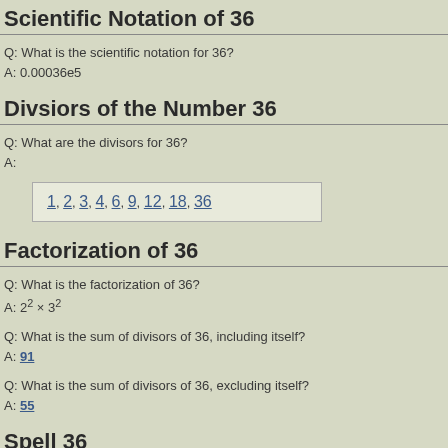Scientific Notation of 36
Q: What is the scientific notation for 36?
A: 0.00036e5
Divsiors of the Number 36
Q: What are the divisors for 36?
A:
1, 2, 3, 4, 6, 9, 12, 18, 36
Factorization of 36
Q: What is the factorization of 36?
A: 2^2 × 3^2
Q: What is the sum of divisors of 36, including itself?
A: 91
Q: What is the sum of divisors of 36, excluding itself?
A: 55
Spell 36
The spelling of 36 in different languages.